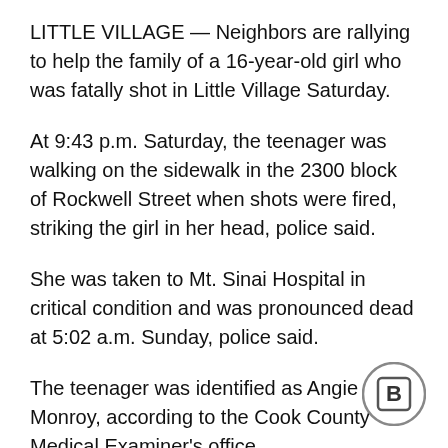LITTLE VILLAGE — Neighbors are rallying to help the family of a 16-year-old girl who was fatally shot in Little Village Saturday.
At 9:43 p.m. Saturday, the teenager was walking on the sidewalk in the 2300 block of Rockwell Street when shots were fired, striking the girl in her head, police said.
She was taken to Mt. Sinai Hospital in critical condition and was pronounced dead at 5:02 a.m. Sunday, police said.
The teenager was identified as Angie Monroy, according to the Cook County Medical Examiner's office.
[Figure (logo): Circular logo with letter B inside a square, dark grey border]